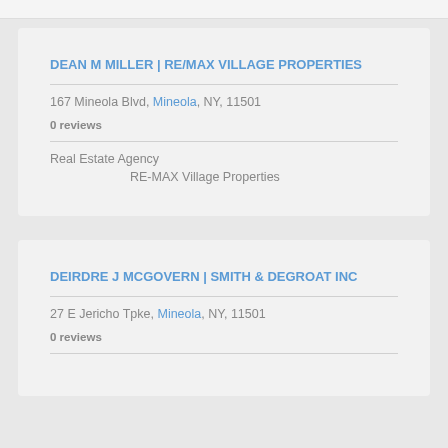DEAN M MILLER | RE/MAX VILLAGE PROPERTIES
167 Mineola Blvd, Mineola, NY, 11501
0 reviews
Real Estate Agency
RE-MAX Village Properties
DEIRDRE J MCGOVERN | SMITH & DEGROAT INC
27 E Jericho Tpke, Mineola, NY, 11501
0 reviews